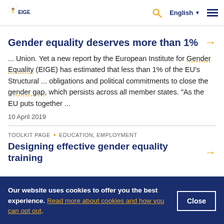EIGE – English
Gender equality deserves more than 1%
... Union. Yet a new report by the European Institute for Gender Equality (EIGE) has estimated that less than 1% of the EU's Structural ... obligations and political commitments to close the gender gap, which persists across all member states. "As the EU puts together ...
10 April 2019
TOOLKIT PAGE · EDUCATION, EMPLOYMENT
Designing effective gender equality training
Our website uses cookies to offer you the best experience. Read more about cookies and how you can opt out.